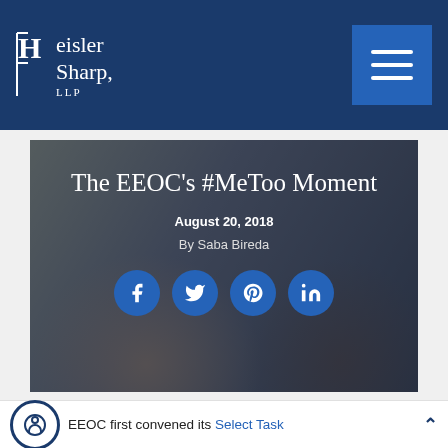Heisler Sharp, LLP
[Figure (photo): Hero banner image with overlaid text showing 'The EEOC's #MeToo Moment', dated August 20, 2018, by Saba Bireda, with social media sharing icons (Facebook, Twitter, Pinterest, LinkedIn). Background shows people with hands together in a team gesture.]
The EEOC's #MeToo Moment
August 20, 2018
By Saba Bireda
EEOC first convened its Select Task